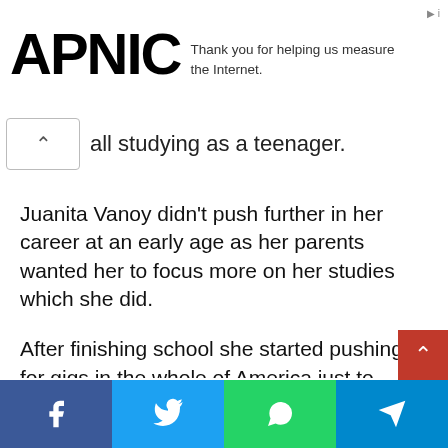APNIC — Thank you for helping us measure the Internet.
all studying as a teenager.
Juanita Vanoy didn't push further in her career at an early age as her parents wanted her to focus more on her studies which she did.
After finishing school she started pushing for gigs in the whole of America just to make sure her name is on every agency list.
Her first big job came when she worked at the American Bar Association as a Secretary while also a model.
Things turned up big for her when she started dating her ex-husband Michael Jordan which made her famous.